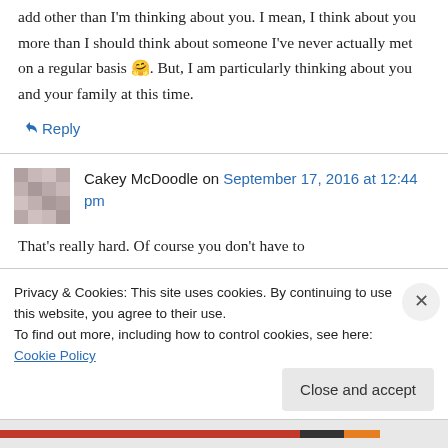add other than I'm thinking about you. I mean, I think about you more than I should think about someone I've never actually met on a regular basis 🤗. But, I am particularly thinking about you and your family at this time.
↪ Reply
Cakey McDoodle on September 17, 2016 at 12:44 pm
That's really hard. Of course you don't have to
Privacy & Cookies: This site uses cookies. By continuing to use this website, you agree to their use.
To find out more, including how to control cookies, see here: Cookie Policy
Close and accept